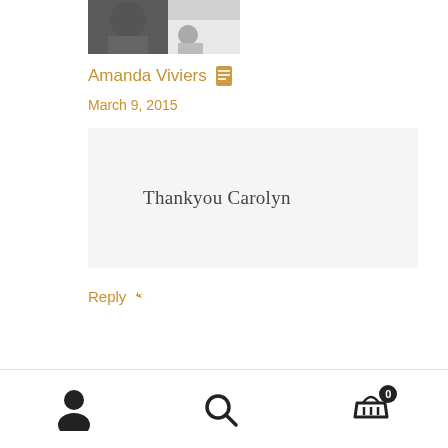[Figure (photo): Partial top avatar photo of a person, cropped at top]
Amanda Viviers
March 9, 2015
Thankyou Carolyn
Reply
[Figure (illustration): Default grey avatar/profile placeholder icon]
User icon | Search icon | Cart icon with badge 0